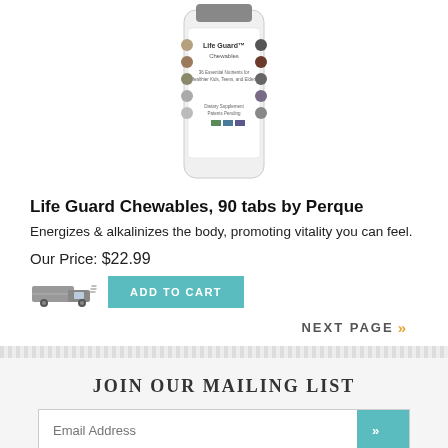[Figure (photo): Product image of Life Guard Chewables supplement bottle by Perque, white bottle with label showing tablet icons]
Life Guard Chewables, 90 tabs by Perque
Energizes & alkalinizes the body, promoting vitality you can feel.
Our Price: $22.99
ADD TO CART
NEXT PAGE »
JOIN OUR MAILING LIST
Email Address